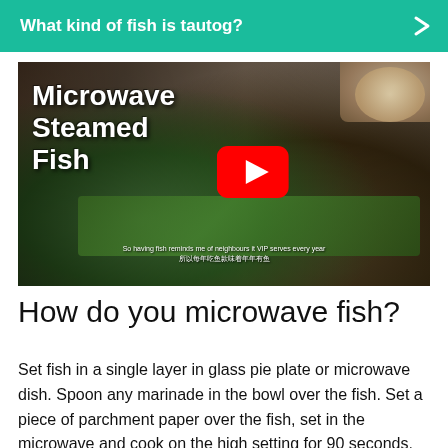What kind of fish is tautog?
[Figure (screenshot): YouTube video thumbnail showing a steamed fish dish with text overlay reading 'Microwave Steamed Fish' and a red YouTube play button in the center. Subtitle text at bottom in English and Chinese characters.]
How do you microwave fish?
Set fish in a single layer in glass pie plate or microwave dish. Spoon any marinade in the bowl over the fish. Set a piece of parchment paper over the fish, set in the microwave and cook on the high setting for 90 seconds.